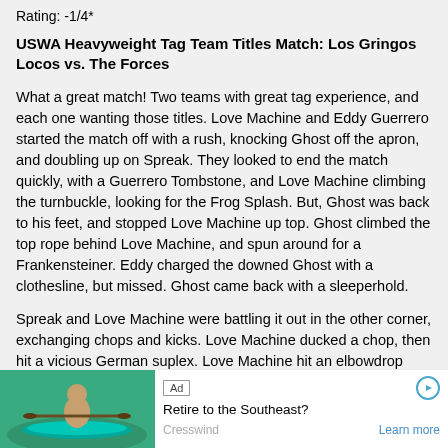Rating: -1/4*
USWA Heavyweight Tag Team Titles Match: Los Gringos Locos vs. The Forces
What a great match! Two teams with great tag experience, and each one wanting those titles. Love Machine and Eddy Guerrero started the match off with a rush, knocking Ghost off the apron, and doubling up on Spreak. They looked to end the match quickly, with a Guerrero Tombstone, and Love Machine climbing the turnbuckle, looking for the Frog Splash. But, Ghost was back to his feet, and stopped Love Machine up top. Ghost climbed the top rope behind Love Machine, and spun around for a Frankensteiner. Eddy charged the downed Ghost with a clothesline, but missed. Ghost came back with a sleeperhold.
Spreak and Love Machine were battling it out in the other corner, exchanging chops and kicks. Love Machine ducked a chop, then hit a vicious German suplex. Love Machine hit an elbowdrop from the second rope. He was in the process of locking in a Boston Crab, when Ghost sent Eddy Guerrero into the corner, crashing into his partner. Ghost and Spreak began doubling up on the Gringos, and Spreak was inches away from hitting the Streak, when Eddy Guerrero hit a back elbow, knocking Spreak to the floor.
Out of nowhere, the mysterious wrestler from two weeks ago resurfaced, this time delivering a jaw shattering punch on Eddy Guerrero, who's head
[Figure (photo): Advertisement banner: Ad label with play button, 'Retire to the Southeast?' headline, Cresswind brand, Learn more link, with photo of person kayaking on teal/green water background.]